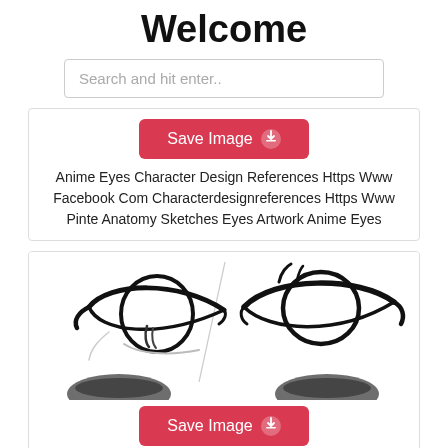Welcome
Search and hit enter..
[Figure (screenshot): Card with Save Image button (red/pink) and descriptive text about anime eyes character design references]
Anime Eyes Character Design References Https Www Facebook Com Characterdesignreferences Https Www Pinte Anatomy Sketches Eyes Artwork Anime Eyes
[Figure (illustration): Anime-style eyes sketch drawing showing two pairs of stylized anime eyes in black ink on white background, with partial bottom row of eyes]
Save Image